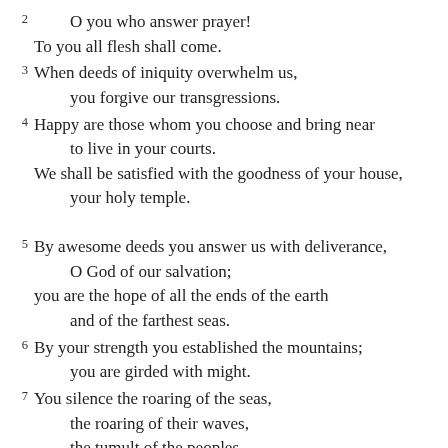2  O you who answer prayer!
   To you all flesh shall come.
3  When deeds of iniquity overwhelm us,
      you forgive our transgressions.
4  Happy are those whom you choose and bring near
      to live in your courts.
   We shall be satisfied with the goodness of your house,
      your holy temple.
5  By awesome deeds you answer us with deliverance,
      O God of our salvation;
   you are the hope of all the ends of the earth
      and of the farthest seas.
6  By your strength you established the mountains;
      you are girded with might.
7  You silence the roaring of the seas,
      the roaring of their waves,
      the tumult of the peoples.